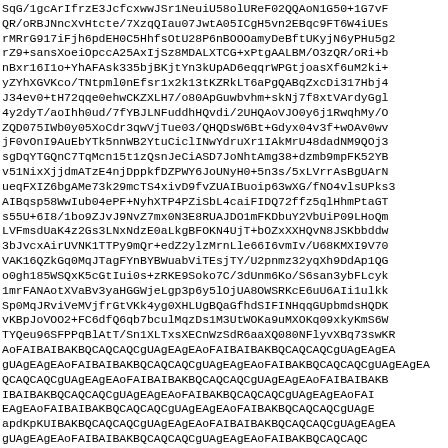SqG/1gcArIfrzE3JcfcxwwJSr1NeuiU58olUReF02QQAoN1G50+1G7vF
QR/oRBJNncXvHtcte/7XzqQIau07JwtA05ICgH5vn2EBqc9FT6W4iUEs
rMRrG917iFjh6pdEH0C5HhfsOtU28P6nBOOOamyDeBftUKyjN6yPHu5g2
rZ9+sansXoeiOpccA25AxIjSz8MDALXTCG+xPtgAALBM/O3zQR/oRi+b
nBxr16I1o+YhAFAsk335bjBKjtYn3kUpAD6eqqrWPGtjoasXf6uM2ki+
yZYhXGVKco/TNtpml0nEfsr1x2k13tKZRkLT6aPgQABqZxcDi317Hbj4
J34ev0+tH72qqe0ehwCKZXLH7/o80ApGuwbvhm+skNj7f8xtVArdyGgl
4y2dyT/aoIhh0ud/7fYBJLNFuddhHQvdi/2UHQAoVJO0y6j1RwqhMy/O
ZQD075IWb0y05XoCdr3qwVjTue03/QHQDsW6Bt+Gdyx04v3f+wOAv0wv
jF0vOnI9AuEbYTk5nnWB2YtuCiclINwYdruXr1IAkMrU48dadNM9QOj3
sgDqYTGQnC7TqMcn15t1zQsnJeCiASD7JoNhtAmg38+dzmb9mpFK52YB
v51NixXjjdmATzE4njDppkfDZPWY6JoUNyH0+5n3s/5xLVrrAsBgUArN
ueqFXIZ6bgAMe73k29mcTS4xivD9fvZUAIBuoip63wXG/fNO4vlsUPks3
AIBqsp58WwIub04ePF+NyhXTP4PZiSbL4caiFIDQ72ffz5qlHhmPtaGT
s55U+6I8/1bo9ZJvJ9NvZ7mx0N3E8RUAJDO1mFKDbuY2VbUiP09LHoQm
LVFmsdUaK4z2Gs3LNxNdzE0aLkgBFOKN4UjT+bOZxXXHQvN8JSKbbddw
3bJvcxAirUVNK1TTPy9mQr+edZ2ylzMrnLle66I6vmIv/U68KMXI9V70
VAK16QZkGq0MqJTagFYnBYBWuabViTEsjTY/U2pnmz32yqXh9DdAp1QG
o0gh185WSQxK5cGtIui0s+zRKE9Soko7C/3dUnm6Ko/S6san3ybFLcyk
1mrFANAotXVaBv3yaHGGWjeLgp3p6y5lOjUA8OWSRKcE6uU6AIi1ulkk
Sp0MqJRviVeMVjfrGtVKk4yg0XHLUgBQaGfhdSIFINHqqGUpbmdsHQDK
vKBpJoVOO2+FC6dfQ6qb7bculMqzDs1M3UtWOKa9uMXOKq09xkyKmS6W
TYQeu96SFPPqBlAtT/Sn1XLTxsXECnWzSdR6aaXQ080NFlyvXBq73swKR
AoFAIBAIBAKBQCAQCAQCgUAgEAgEAoFAIBAIBAKBQCAQCAQCgUAgEAgEA
gUAgEAgEAoFAIBAIBAKBQCAQCAQCgUAgEAgEAoFAIBAKBQCAQCAQCgUAgEAgEA
QCAQCAQCgUAgEAgEAoFAIBAIBAKBQCAQCAQCgUAgEAgEAoFAIBAIBAKB
IBAIBAKBQCAQCAQCgUAgEAgEAoFAIBAKBQCAQCAQCgUAgEAgEAoFAI
EAgEAoFAIBAIBAKBQCAQCAQCgUAgEAgEAoFAIBAKBQCAQCAQCgUAgE
apdKpKUIBAKBQCAQCAQCgUAgEAgEAoFAIBAIBAKBQCAQCAQCgUAgEAgEA
gUAgEAgEAoFAIBAIBAKBQCAQCAQCgUAgEAgEAoFAIBAKBQCAQCAQC